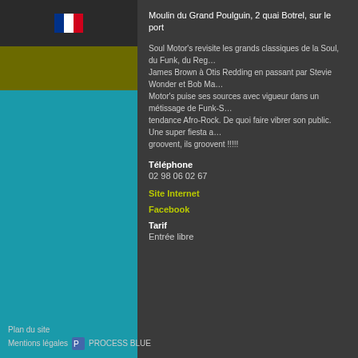[Figure (illustration): French flag icon in the sidebar top area]
Moulin du Grand Poulguin, 2 quai Botrel, sur le port
Soul Motor's revisite les grands classiques de la Soul, du Funk, du Reg... James Brown à Otis Redding en passant par Stevie Wonder et Bob Ma... Motor's puise ses sources avec vigueur dans un métissage de Funk-S... tendance Afro-Rock. De quoi faire vibrer son public. Une super fiesta a... groovent, ils groovent !!!!!
Téléphone
02 98 06 02 67
Site Internet
Facebook
Tarif
Entrée libre
Plan du site
Mentions légales    PROCESS BLUE